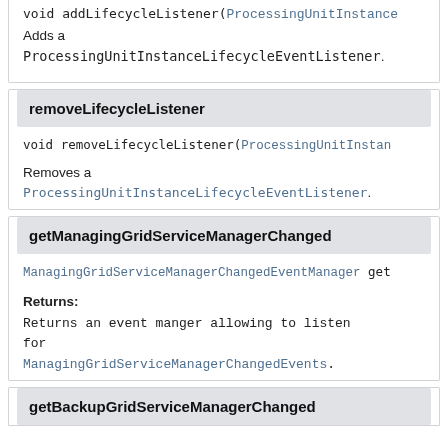void addLifecycleListener(ProcessingUnitInstance...
Adds a ProcessingUnitInstanceLifecycleEventListener.
removeLifecycleListener
void removeLifecycleListener(ProcessingUnitInstan...
Removes a ProcessingUnitInstanceLifecycleEventListener.
getManagingGridServiceManagerChanged
ManagingGridServiceManagerChangedEventManager get...
Returns:
Returns an event manger allowing to listen for ManagingGridServiceManagerChangedEvents.
getBackupGridServiceManagerChanged